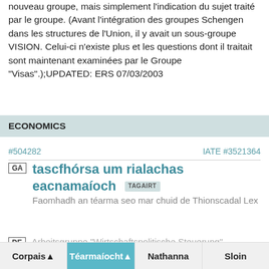nouveau groupe, mais simplement l'indication du sujet traité par le groupe. (Avant l'intégration des groupes Schengen dans les structures de l'Union, il y avait un sous-groupe VISION. Celui-ci n'existe plus et les questions dont il traitait sont maintenant examinées par le Groupe "Visas".);UPDATED: ERS 07/03/2003
ECONOMICS
#504282    IATE #3521364
GA   tascfhórsa um rialachas eacnamaíoch  TAGAIRT  Faomhadh an téarma seo mar chuid de Thionscadal Lex
DE   Arbeitsgruppe "Wirtschaftspolitische Steuerung"
Corpais ▲   Téarmaíocht ▲   Nathanna   Sloin